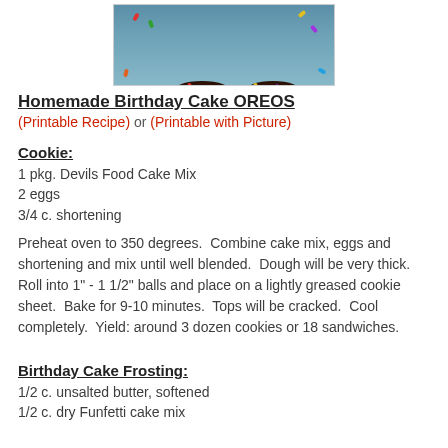[Figure (photo): Two chocolate cookie sandwich cookies (homemade birthday cake Oreos) with white cream filling and colorful sprinkles on a blue background]
Homemade Birthday Cake OREOS
(Printable Recipe) or (Printable with Picture)
Cookie:
1 pkg. Devils Food Cake Mix
2 eggs
3/4 c. shortening
Preheat oven to 350 degrees.  Combine cake mix, eggs and shortening and mix until well blended.  Dough will be very thick.  Roll into 1" - 1 1/2" balls and place on a lightly greased cookie sheet.  Bake for 9-10 minutes.  Tops will be cracked.  Cool completely.  Yield: around 3 dozen cookies or 18 sandwiches.
Birthday Cake Frosting:
1/2 c. unsalted butter, softened
1/2 c. dry Funfetti cake mix